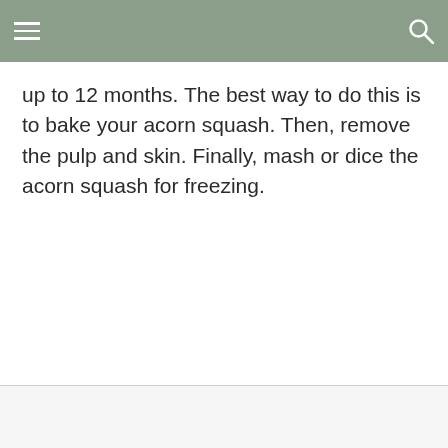up to 12 months. The best way to do this is to bake your acorn squash. Then, remove the pulp and skin. Finally, mash or dice the acorn squash for freezing.